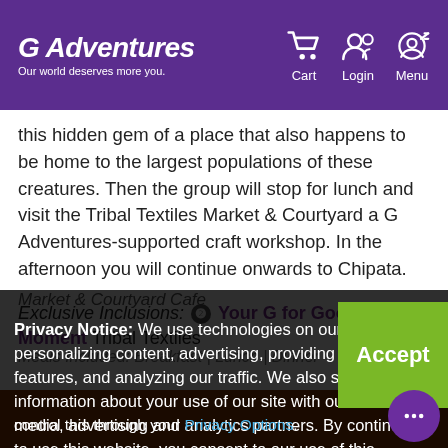G Adventures — Our world deserves more you. | Cart | Login | Menu
this hidden gem of a place that also happens to be home to the largest populations of these creatures. Then the group will stop for lunch and visit the Tribal Textiles Market & Courtyard a G Adventures-supported craft workshop. In the afternoon you will continue onwards to Chipata.
Exclusive Inclusions: ❷ Your G for Good Moment Tribal Textiles Market & Courtyard Cafe
Meals Included: Breakfast | Lunch | Dinner
Day 26
Privacy Notice: We use technologies on our website for personalizing content, advertising, providing social media features, and analyzing our traffic. We also share information about your use of our site with our social media, advertising and analytics partners. By continuing to use this website, you consent to our use of this technology. You can control this through your Privacy Options.